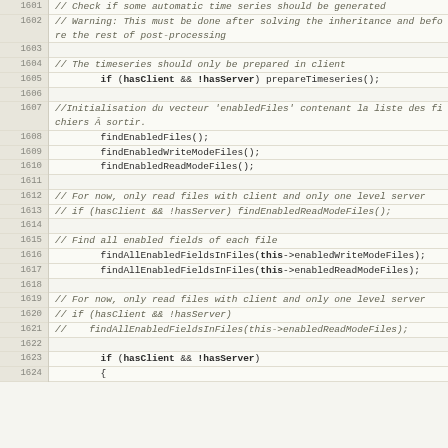| line | code |
| --- | --- |
| 1601 | // Check if some automatic time series should be generated |
| 1602 | // Warning: This must be done after solving the inheritance and before the rest of post-processing |
| 1603 |  |
| 1604 | // The timeseries should only be prepared in client |
| 1605 | if (hasClient && !hasServer) prepareTimeseries(); |
| 1606 |  |
| 1607 | //Initialisation du vecteur 'enabledFiles' contenant la liste des fichiers à sortir. |
| 1608 | findEnabledFiles(); |
| 1609 | findEnabledWriteModeFiles(); |
| 1610 | findEnabledReadModeFiles(); |
| 1611 |  |
| 1612 | // For now, only read files with client and only one level server |
| 1613 | // if (hasClient && !hasServer) findEnabledReadModeFiles(); |
| 1614 |  |
| 1615 | // Find all enabled fields of each file |
| 1616 | findAllEnabledFieldsInFiles(this->enabledWriteModeFiles); |
| 1617 | findAllEnabledFieldsInFiles(this->enabledReadModeFiles); |
| 1618 |  |
| 1619 | // For now, only read files with client and only one level server |
| 1620 | // if (hasClient && !hasServer) |
| 1621 | //    findAllEnabledFieldsInFiles(this->enabledReadModeFiles); |
| 1622 |  |
| 1623 | if (hasClient && !hasServer) |
| 1624 | { |